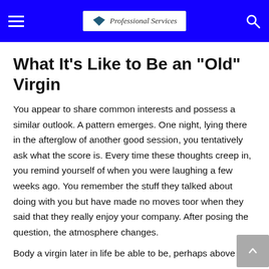Professional Services
What It’s Like to Be an “Old” Virgin
You appear to share common interests and possess a similar outlook. A pattern emerges. One night, lying there in the afterglow of another good session, you tentatively ask what the score is. Every time these thoughts creep in, you remind yourself of when you were laughing a few weeks ago. You remember the stuff they talked about doing with you but have made no moves toor when they said that they really enjoy your company. After posing the question, the atmosphere changes.
Body a virgin later in life be able to be, perhaps above all